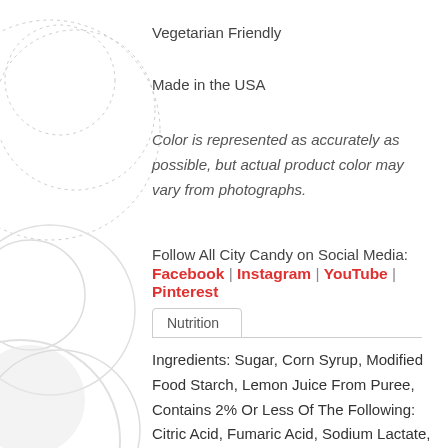Vegetarian Friendly
Made in the USA
Color is represented as accurately as possible, but actual product color may vary from photographs.
Follow All City Candy on Social Media:
Facebook | Instagram | YouTube | Pinterest
Nutrition
Ingredients: Sugar, Corn Syrup, Modified Food Starch, Lemon Juice From Puree, Contains 2% Or Less Of The Following: Citric Acid, Fumaric Acid, Sodium Lactate, Sodium Citrate, Natural Flavor, Color Added, Yellow